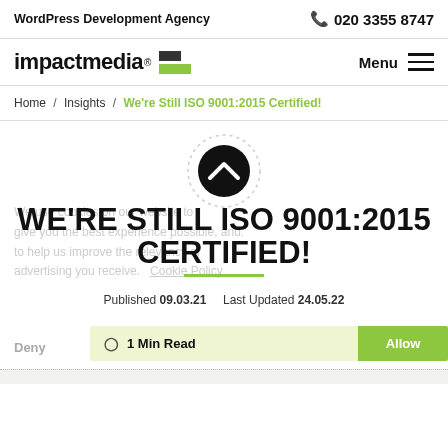WordPress Development Agency | 020 3355 8747
[Figure (logo): impactmedia logo with dark and green rectangular blocks]
Menu
Home / Insights / We're Still ISO 9001:2015 Certified!
[Figure (illustration): Dotted circle with upward chevron arrow in black circle]
WE'RE STILL ISO 9001:2015 CERTIFIED!
Published 09.03.21   Last Updated 24.05.22
1 Min Read